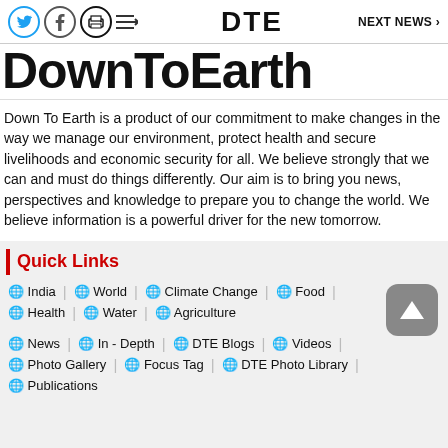DTE  NEXT NEWS >
DownToEarth
Down To Earth is a product of our commitment to make changes in the way we manage our environment, protect health and secure livelihoods and economic security for all. We believe strongly that we can and must do things differently. Our aim is to bring you news, perspectives and knowledge to prepare you to change the world. We believe information is a powerful driver for the new tomorrow.
Quick Links
India | World | Climate Change | Food
Health | Water | Agriculture
News | In - Depth | DTE Blogs | Videos
Photo Gallery | Focus Tag | DTE Photo Library
Publications